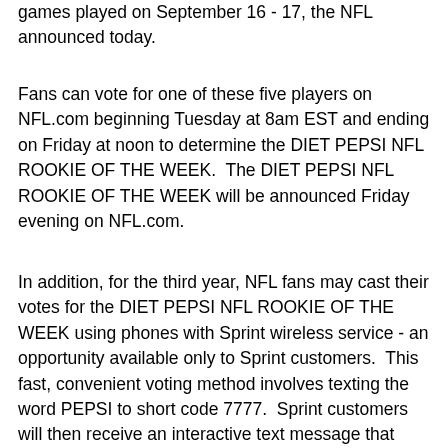games played on September 16 - 17, the NFL announced today.
Fans can vote for one of these five players on NFL.com beginning Tuesday at 8am EST and ending on Friday at noon to determine the DIET PEPSI NFL ROOKIE OF THE WEEK.  The DIET PEPSI NFL ROOKIE OF THE WEEK will be announced Friday evening on NFL.com.
In addition, for the third year, NFL fans may cast their votes for the DIET PEPSI NFL ROOKIE OF THE WEEK using phones with Sprint wireless service - an opportunity available only to Sprint customers.  This fast, convenient voting method involves texting the word PEPSI to short code 7777.  Sprint customers will then receive an interactive text message that links fans to the ballot with the five finalists each week.  Data and